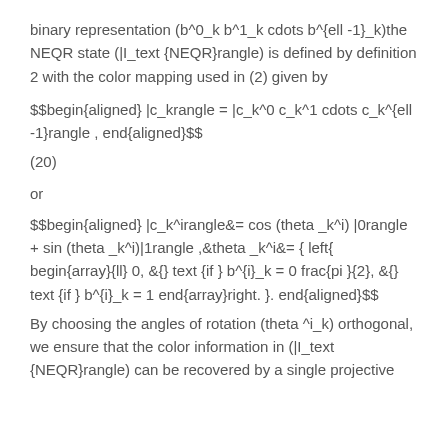binary representation (b^0_k b^1_k cdots b^{ell -1}_k)the NEQR state (|I_text {NEQR}rangle) is defined by definition 2 with the color mapping used in (2) given by
(20)
or
By choosing the angles of rotation (theta ^i_k) orthogonal, we ensure that the color information in (|I_text {NEQR}rangle) can be recovered by a single projective